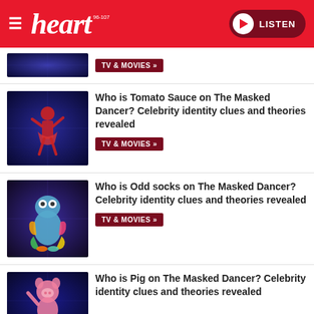heart 96-107 | LISTEN
[Figure (screenshot): Partial article card showing TV & MOVIES tag button, partially cut off at top]
TV & MOVIES »
Who is Tomato Sauce on The Masked Dancer? Celebrity identity clues and theories revealed
TV & MOVIES »
Who is Odd socks on The Masked Dancer? Celebrity identity clues and theories revealed
TV & MOVIES »
Who is Pig on The Masked Dancer? Celebrity identity clues and theories revealed